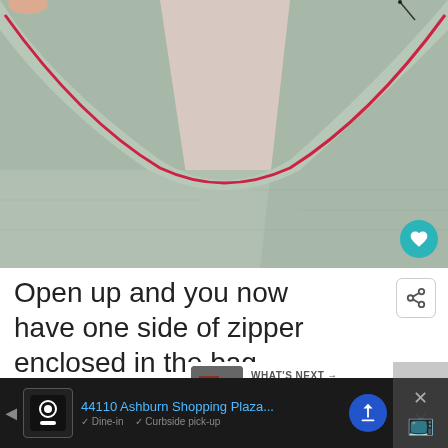[Figure (photo): Close-up photo of silver/gray fabric being sewn with a curved seam, showing one side of a zipper enclosed in a bag. Pink/red stitching visible along the curved edge. The fabric is crinkled and laid flat against a light pinkish background.]
Open up and you now have one side of zipper enclosed in the bag.
WHAT'S NEXT → Cross Body Bag Free...
44110 Ashburn Shopping Plaza...
Dine-in   Curbside pick-up